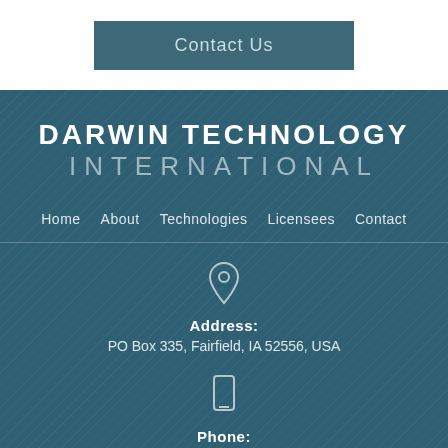Contact Us
DARWIN TECHNOLOGY INTERNATIONAL
Home
About
Technologies
Licensees
Contact
Address:
PO Box 335, Fairfield, IA 52556, USA
Phone:
+1 (641) 209-6179